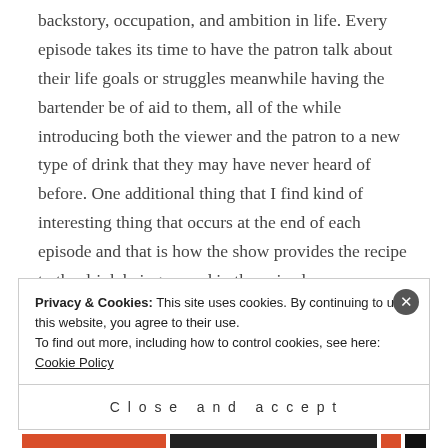backstory, occupation, and ambition in life. Every episode takes its time to have the patron talk about their life goals or struggles meanwhile having the bartender be of aid to them, all of the while introducing both the viewer and the patron to a new type of drink that they may have never heard of before. One additional thing that I find kind of interesting thing that occurs at the end of each episode and that is how the show provides the recipe to the drink being served in the episode.
Privacy & Cookies: This site uses cookies. By continuing to use this website, you agree to their use. To find out more, including how to control cookies, see here: Cookie Policy
Close and accept